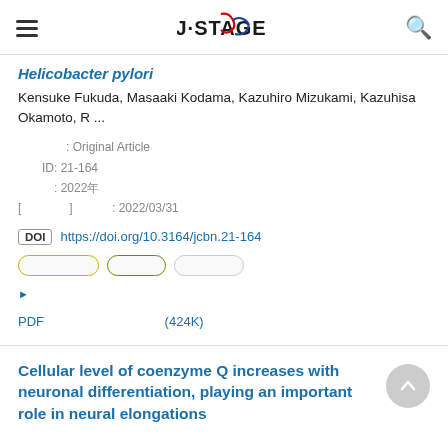J-STAGE
Helicobacter pylori
Kensuke Fukuda, Masaaki Kodama, Kazuhiro Mizukami, Kazuhisa Okamoto, R ...
論文種別: Original Article
論文ID: 21-164
発行年: 2022年
[早期公開] 公開日: 2022/03/31
DOI https://doi.org/10.3164/jcbn.21-164
[タグ buttons: 酸化ストレス, 抗酸化, ヘリコバクター]
▶ 抄録を表示する
PDFをダウンロード (424K)
Cellular level of coenzyme Q increases with neuronal differentiation, playing an important role in neural elongations